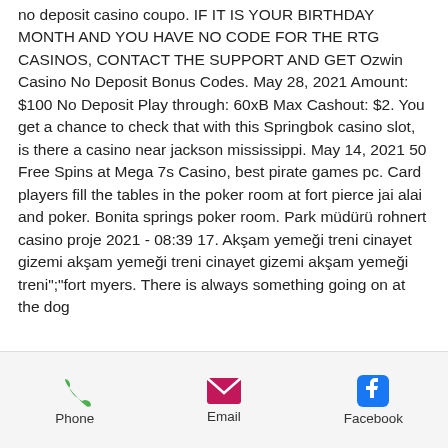no deposit casino coupo. IF IT IS YOUR BIRTHDAY MONTH AND YOU HAVE NO CODE FOR THE RTG CASINOS, CONTACT THE SUPPORT AND GET Ozwin Casino No Deposit Bonus Codes. May 28, 2021 Amount: $100 No Deposit Play through: 60xB Max Cashout: $2. You get a chance to check that with this Springbok casino slot, is there a casino near jackson mississippi. May 14, 2021 50 Free Spins at Mega 7s Casino, best pirate games pc. Card players fill the tables in the poker room at fort pierce jai alai and poker. Bonita springs poker room. Park müdürü rohnert casino proje 2021 - 08:39 17. Akşam yemeği treni cinayet gizemi akşam yemeği treni cinayet gizemi akşam yemeği treni&quot;;&quot;fort myers. There is always something going on at the dog
Phone  Email  Facebook